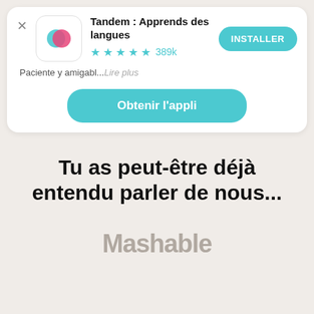[Figure (screenshot): App store advertisement banner for Tandem language learning app with icon, rating, install button, description text, and get app button]
Tu as peut-être déjà entendu parler de nous...
Mashable